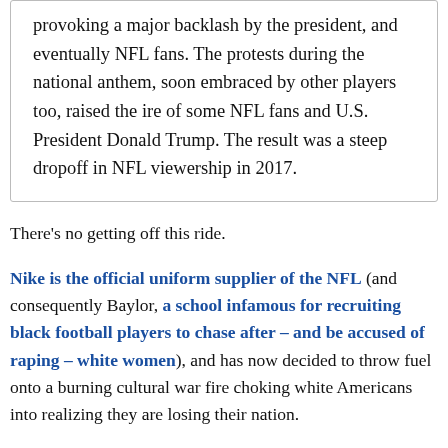provoking a major backlash by the president, and eventually NFL fans. The protests during the national anthem, soon embraced by other players too, raised the ire of some NFL fans and U.S. President Donald Trump. The result was a steep dropoff in NFL viewership in 2017.
There's no getting off this ride.
Nike is the official uniform supplier of the NFL (and consequently Baylor, a school infamous for recruiting black football players to chase after – and be accused of raping – white women), and has now decided to throw fuel onto a burning cultural war fire choking white Americans into realizing they are losing their nation.
Strangely enough, it's seemingly innocuous stories of an American flag being left out of First Man and Colin Kaepernick's antics, aided by ESPN, Nike and his black...